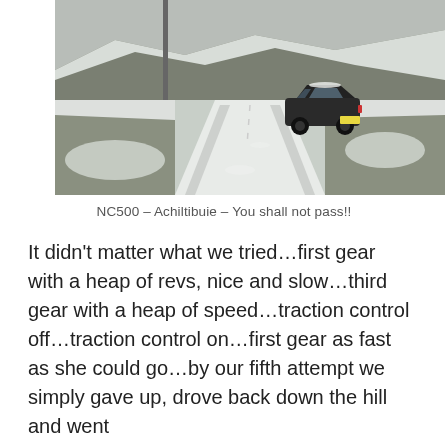[Figure (photo): A dark-coloured estate car driving on a snowy single-track road in a highland landscape. Snow covers the road surface and surrounding hills. Tyre tracks are visible in the snow.]
NC500 – Achiltibuie – You shall not pass!!
It didn't matter what we tried…first gear with a heap of revs, nice and slow…third gear with a heap of speed…traction control off…traction control on…first gear as fast as she could go…by our fifth attempt we simply gave up, drove back down the hill and went